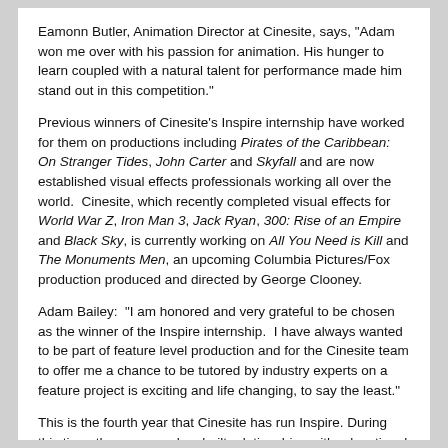Eamonn Butler, Animation Director at Cinesite, says, "Adam won me over with his passion for animation. His hunger to learn coupled with a natural talent for performance made him stand out in this competition."
Previous winners of Cinesite's Inspire internship have worked for them on productions including Pirates of the Caribbean: On Stranger Tides, John Carter and Skyfall and are now established visual effects professionals working all over the world.  Cinesite, which recently completed visual effects for World War Z, Iron Man 3, Jack Ryan, 300: Rise of an Empire and Black Sky, is currently working on All You Need is Kill and The Monuments Men, an upcoming Columbia Pictures/Fox production produced and directed by George Clooney.
Adam Bailey:  "I am honored and very grateful to be chosen as the winner of the Inspire internship.  I have always wanted to be part of feature level production and for the Cinesite team to offer me a chance to be tutored by industry experts on a feature project is exciting and life changing, to say the least."
This is the fourth year that Cinesite has run Inspire. During this time, the company has built relationships with educational facilities in the UK and around the world, giving advice and support to tutors and students in order to support emerging talent in the industry.
"Since we began Inspire, the standard of work from students and